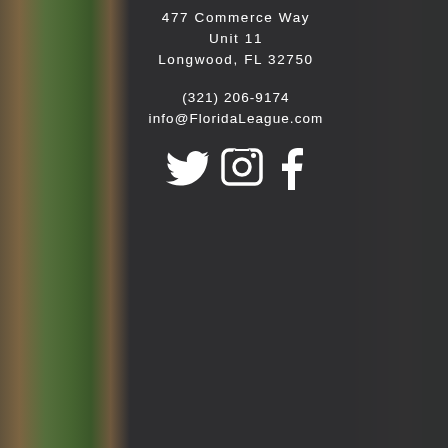[Figure (photo): Baseball field/stadium photo visible on left and right edges behind dark center panel]
477 Commerce Way
Unit 11
Longwood, FL 32750
(321) 206-9174
info@FloridaLeague.com
[Figure (infographic): Three social media icons: Twitter bird icon, Instagram camera icon, Facebook F icon — all white on dark background]